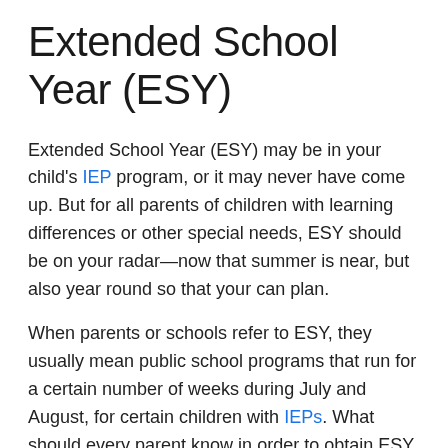Extended School Year (ESY)
Extended School Year (ESY) may be in your child's IEP program, or it may never have come up. But for all parents of children with learning differences or other special needs, ESY should be on your radar—now that summer is near, but also year round so that your can plan.
When parents or schools refer to ESY, they usually mean public school programs that run for a certain number of weeks during July and August, for certain children with IEPs. What should every parent know in order to obtain ESY when it's called for? For starters, these five secrets that I often find